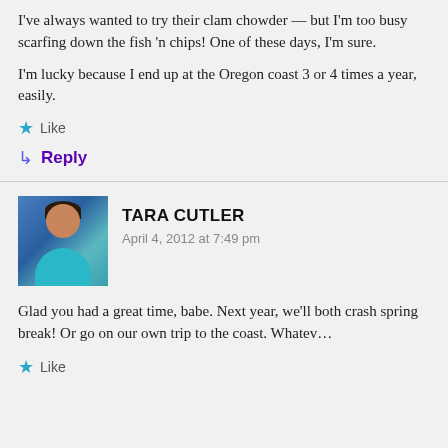I've always wanted to try their clam chowder — but I'm too busy scarfing down the fish 'n chips! One of these days, I'm sure.
I'm lucky because I end up at the Oregon coast 3 or 4 times a year, easily.
★ Like
↳ Reply
TARA CUTLER
April 4, 2012 at 7:49 pm
Glad you had a great time, babe. Next year, we'll both crash spring break! Or go on our own trip to the coast. Whatev...
★ Like